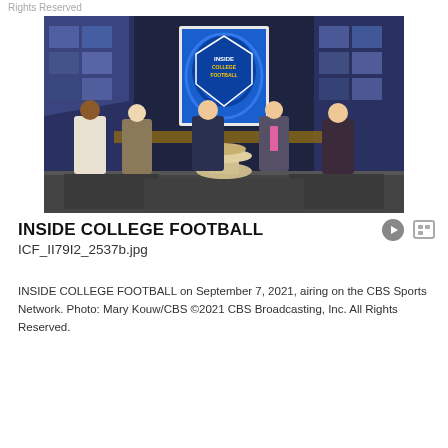Rights Reserved
[Figure (photo): Five people seated on a TV studio set for Inside College Football on CBS Sports Network. The set features a blue and gold shield logo, blue LED panels, and a round glass coffee table in the center.]
INSIDE COLLEGE FOOTBALL
ICF_II79I2_2537b.jpg
INSIDE COLLEGE FOOTBALL on September 7, 2021, airing on the CBS Sports Network. Photo: Mary Kouw/CBS ©2021 CBS Broadcasting, Inc. All Rights Reserved.